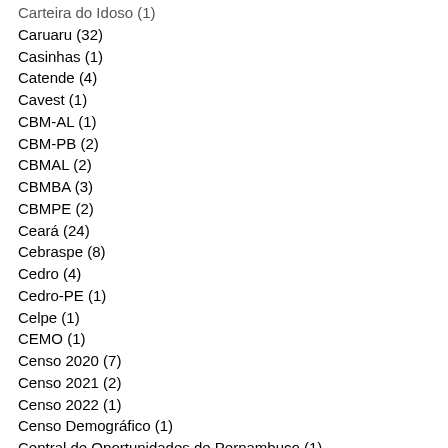Carteira do Idoso (1)
Caruaru (32)
Casinhas (1)
Catende (4)
Cavest (1)
CBM-AL (1)
CBM-PB (2)
CBMAL (2)
CBMBA (3)
CBMPE (2)
Ceará (24)
Cebraspe (8)
Cedro (4)
Cedro-PE (1)
Celpe (1)
CEMO (1)
Censo 2020 (7)
Censo 2021 (2)
Censo 2022 (1)
Censo Demográfico (1)
Central de Oportunidades de Pernambuco (1)
Centro de Educação Musical de Olinda (1)
Centro de Reabilitação do Nobre (1)